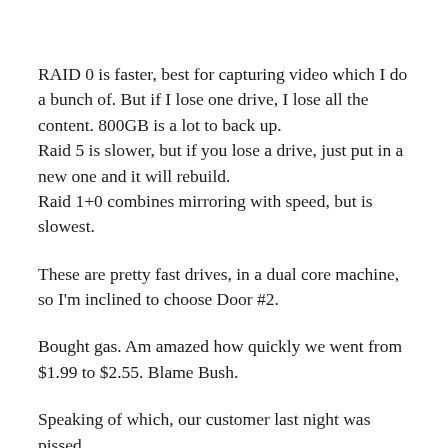RAID 0 is faster, best for capturing video which I do a bunch of. But if I lose one drive, I lose all the content. 800GB is a lot to back up.
Raid 5 is slower, but if you lose a drive, just put in a new one and it will rebuild.
Raid 1+0 combines mirroring with speed, but is slowest.
These are pretty fast drives, in a dual core machine, so I'm inclined to choose Door #2.
Bought gas. Am amazed how quickly we went from $1.99 to $2.55. Blame Bush.
Speaking of which, our customer last night was pissed